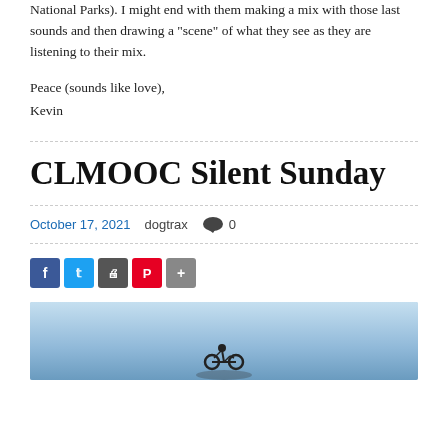National Parks). I might end with them making a mix with those last sounds and then drawing a “scene” of what they see as they are listening to their mix.
Peace (sounds like love),
Kevin
CLMOOC Silent Sunday
October 17, 2021   dogtrax   0
[Figure (infographic): Social share buttons: Facebook, Twitter, Print, Pinterest, More]
[Figure (photo): A blue sky scene with a silhouette of a person on a bicycle at the bottom]